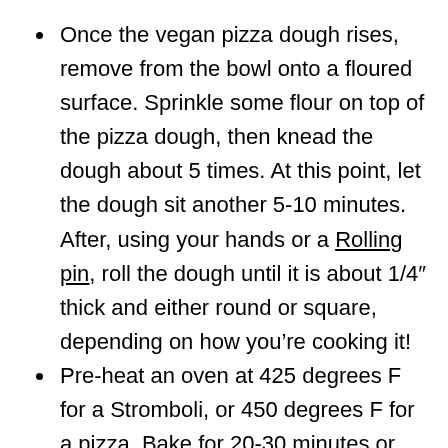Once the vegan pizza dough rises, remove from the bowl onto a floured surface. Sprinkle some flour on top of the pizza dough, then knead the dough about 5 times. At this point, let the dough sit another 5-10 minutes. After, using your hands or a Rolling pin, roll the dough until it is about 1/4″ thick and either round or square, depending on how you’re cooking it!
Pre-heat an oven at 425 degrees F for a Stromboli, or 450 degrees F for a pizza. Bake for 20-30 minutes or until golden brown